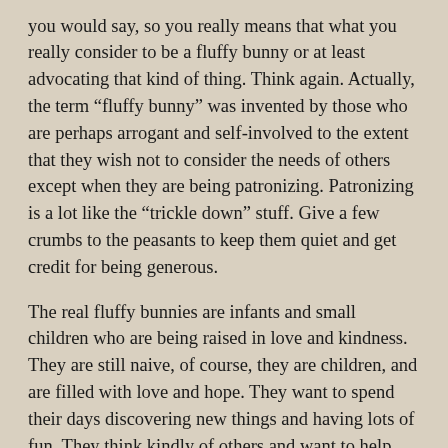you would say, so you really means that what you really consider to be a fluffy bunny or at least advocating that kind of thing. Think again. Actually, the term “fluffy bunny” was invented by those who are perhaps arrogant and self-involved to the extent that they wish not to consider the needs of others except when they are being patronizing. Patronizing is a lot like the “trickle down” stuff. Give a few crumbs to the peasants to keep them quiet and get credit for being generous.

The real fluffy bunnies are infants and small children who are being raised in love and kindness. They are still naive, of course, they are children, and are filled with love and hope. They want to spend their days discovering new things and having lots of fun. They think kindly of others and want to help those in need and it comes from their hearts. Few of us adults have been able to retain that kind of spirit. Too many of us have become tainted, rebellious, and skeptical. Or perhaps we were spoiled rotten and never learned to think for themselves for “us guys.” Some of us had a...